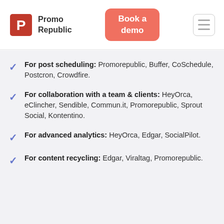[Figure (logo): Promo Republic logo with red P icon and text 'Promo Republic']
Book a demo
For post scheduling: Promorepublic, Buffer, CoSchedule, Postcron, Crowdfire.
For collaboration with a team & clients: HeyOrca, eClincher, Sendible, Commun.it, Promorepublic, Sprout Social, Kontentino.
For advanced analytics: HeyOrca, Edgar, SocialPilot.
For content recycling: Edgar, Viraltag, Promorepublic.